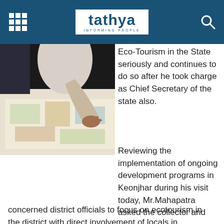tathya INFORMING PEOPLE
[Figure (photo): Person pointing at a map or large document spread on a table, viewed from above and side angle.]
Eco-Tourism in the State seriously and continues to do so after he took charge as Chief Secretary of the state also.
Reviewing the implementation of ongoing development programs in Keonjhar during his visit today, Mr.Mahapatra asked the collector and concerned district officials to focus on ecotourism in the district with direct involvement of locals in development and maintenance of the projects.
He also directed the officials to identify suitable sites for Jungle Safari and boating facilities with active participation of local youth.
“Such activities will create new employment opportunities and boost